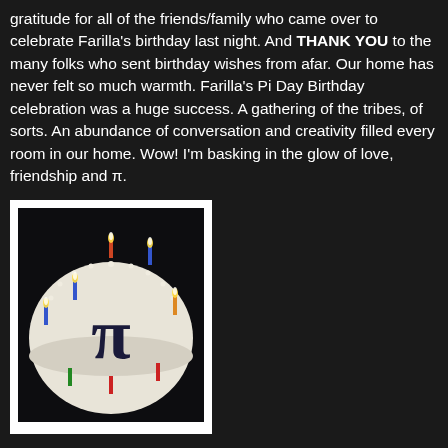gratitude for all of the friends/family who came over to celebrate Farilla's birthday last night. And THANK YOU to the many folks who sent birthday wishes from afar. Our home has never felt so much warmth. Farilla's Pi Day Birthday celebration was a huge success. A gathering of the tribes, of sorts. An abundance of conversation and creativity filled every room in our home. Wow! I'm basking in the glow of love, friendship and π.
[Figure (photo): A white round birthday cake with a dark blue/black pi (π) symbol on top, decorated with multiple lit candles of various colors (blue, red, green, orange) arranged around the pi symbol, photographed in a dark setting with a polaroid-style white border frame.]